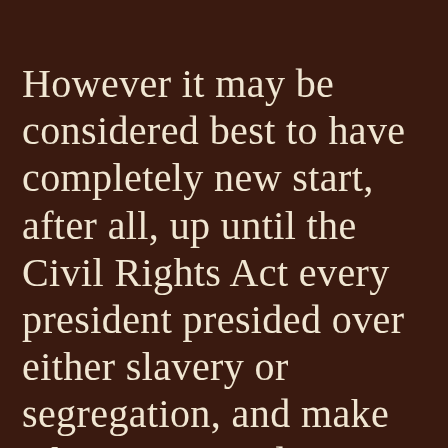However it may be considered best to have completely new start, after all, up until the Civil Rights Act every president presided over either slavery or segregation, and make what was president number 44, Barack Obama, the actually first president displacing most certainly the unlamented George